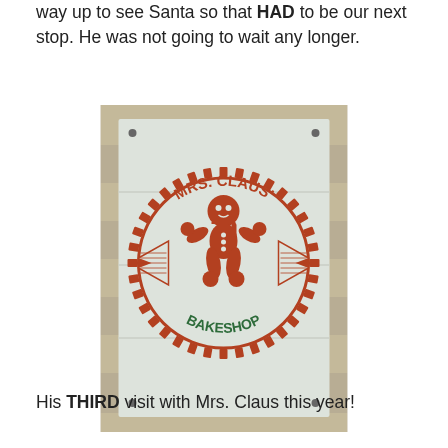way up to see Santa so that HAD to be our next stop. He was not going to wait any longer.
[Figure (photo): A wooden sign for Mrs. Claus' Bakeshop mounted on a tan/beige siding wall. The sign is white/light painted wood with horizontal plank lines. It features a circular logo with a gingerbread man in the center, the text 'MRS. CLAUS'' in red arched along the top, and 'BAKESHOP' in green arched along the bottom, surrounded by a gear/sawblade style border. A red ribbon/banner spans across the middle of the circle.]
His THIRD visit with Mrs. Claus this year!